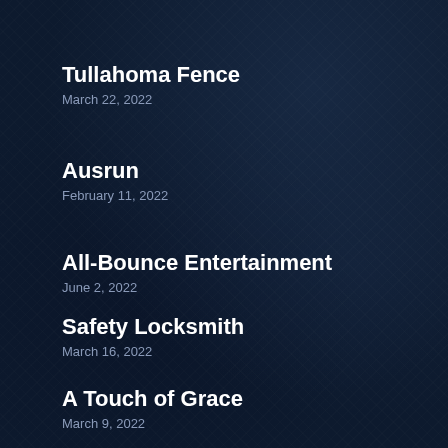Tullahoma Fence
March 22, 2022
Ausrun
February 11, 2022
All-Bounce Entertainment
June 2, 2022
Safety Locksmith
March 16, 2022
A Touch of Grace
March 9, 2022